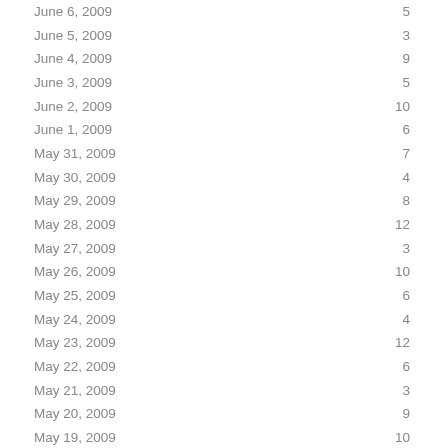| Date | Count |
| --- | --- |
| June 6, 2009 | 5 |
| June 5, 2009 | 3 |
| June 4, 2009 | 9 |
| June 3, 2009 | 5 |
| June 2, 2009 | 10 |
| June 1, 2009 | 6 |
| May 31, 2009 | 7 |
| May 30, 2009 | 4 |
| May 29, 2009 | 8 |
| May 28, 2009 | 12 |
| May 27, 2009 | 3 |
| May 26, 2009 | 10 |
| May 25, 2009 | 6 |
| May 24, 2009 | 4 |
| May 23, 2009 | 12 |
| May 22, 2009 | 6 |
| May 21, 2009 | 3 |
| May 20, 2009 | 9 |
| May 19, 2009 | 10 |
| May 18, 2009 | 9 |
| May 17, 2009 | 2 |
| May 16, 2009 | 9 |
| May 15, 2009 | 5 |
| May 14, 2009 | 7 |